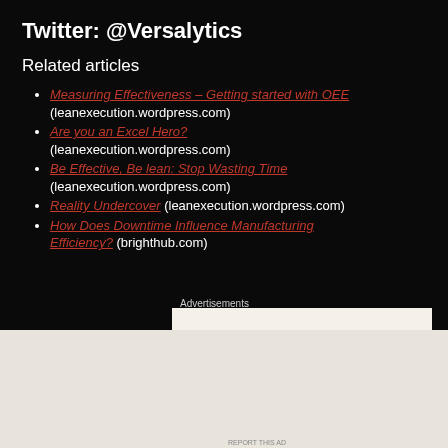Twitter: @Versalytics
Related articles
Measuring Effectiveness – Getting started with OEE (leanexecution.wordpress.com)
Are you an Excel Hero? (leanexecution.wordpress.com)
Be Effective, Be lean: Stop Wasting Time (leanexecution.wordpress.com)
Reality Undercover (leanexecution.wordpress.com)
How Does Downtime Influence Manufacturing Efficiency? (brighthub.com)
Advertisements
[Figure (infographic): WordPress advertisement banner: Opinions. We all have them! with WordPress and another logo]
Advertisements